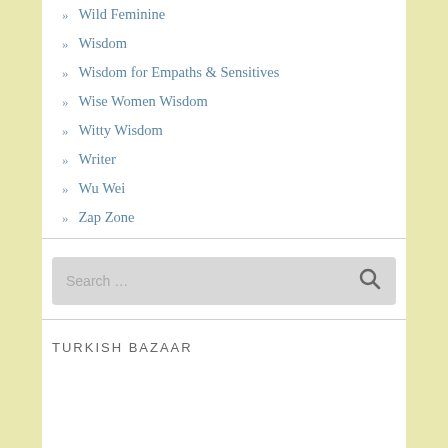» Wild Feminine
» Wisdom
» Wisdom for Empaths & Sensitives
» Wise Women Wisdom
» Witty Wisdom
» Writer
» Wu Wei
» Zap Zone
Search ...
TURKISH BAZAAR